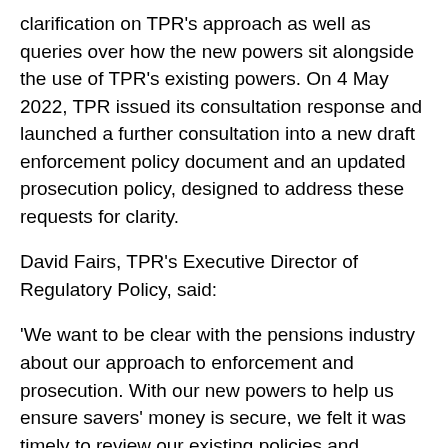clarification on TPR's approach as well as queries over how the new powers sit alongside the use of TPR's existing powers. On 4 May 2022, TPR issued its consultation response and launched a further consultation into a new draft enforcement policy document and an updated prosecution policy, designed to address these requests for clarity.
David Fairs, TPR's Executive Director of Regulatory Policy, said:
'We want to be clear with the pensions industry about our approach to enforcement and prosecution. With our new powers to help us ensure savers' money is secure, we felt it was timely to review our existing policies and consolidate them where possible, so they are easier to navigate.'